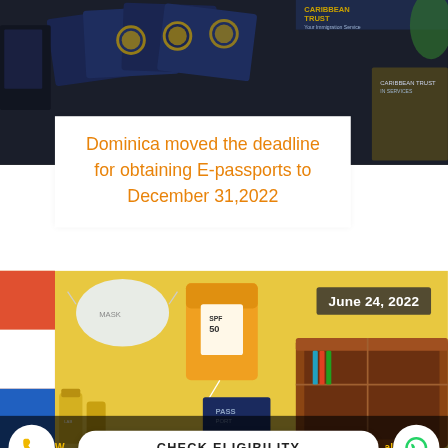[Figure (photo): Photo of navy blue Dominica passports with gold emblem, stacked on a surface. Text 'CARIBBEAN TRUST' and 'Your Immigration Service' visible in corner.]
Dominica moved the deadline for obtaining E-passports to December 31,2022
[Figure (photo): Photo of travel items on yellow background: face mask, sunscreen bottle (SPF 50), passport, suitcase/luggage, small pharmacy bottles. Date badge 'June 24, 2022' shown in top right.]
June 24, 2022
CHECK ELIGIBILITY